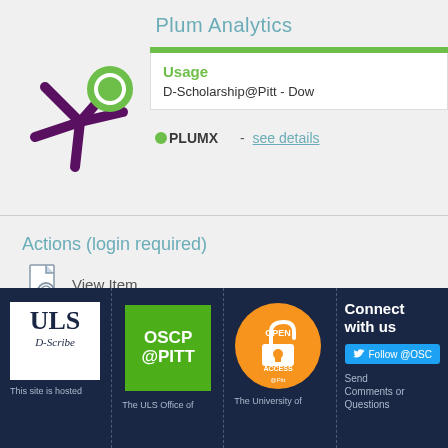Plum Analytics
Usage
D-Scholarship@Pitt - Dow
[Figure (logo): PlumX logo - purple asterisk/snowflake shape with green circle]
PLUMX - see details
Actions (login required)
View Item
[Figure (logo): ULS D-Scribe logo - white box with ULS text and D-Scribe script]
This site is hosted
[Figure (logo): OSCP@PITT green logo]
The ULS Office of
[Figure (logo): Open Access @Pitt orange circle logo with open lock icon]
The University of
Connect with us
Follow @OSC
Send Comments or Questions